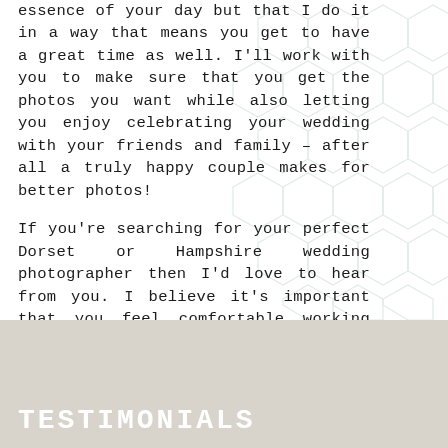essence of your day but that I do it in a way that means you get to have a great time as well. I'll work with you to make sure that you get the photos you want while also letting you enjoy celebrating your wedding with your friends and family – after all a truly happy couple makes for better photos!
If you're searching for your perfect Dorset or Hampshire wedding photographer then I'd love to hear from you. I believe it's important that you feel comfortable working with your photographer so please get in touch to arrange a no-obligation consultation.
TESTIMONIALS